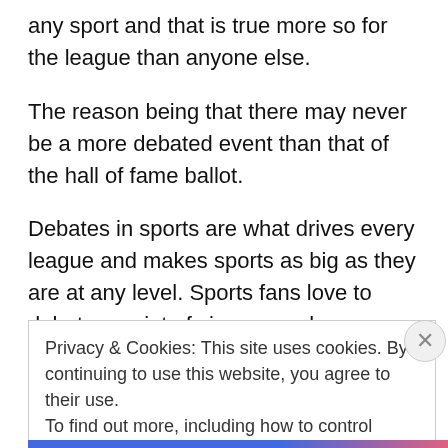any sport and that is true more so for the league than anyone else.
The reason being that there may never be a more debated event than that of the hall of fame ballot.
Debates in sports are what drives every league and makes sports as big as they are at any level. Sports fans love to debate a point of view on a play or a players or even a team.
They love to throw out stats or accomplishments and claim
Privacy & Cookies: This site uses cookies. By continuing to use this website, you agree to their use.
To find out more, including how to control cookies, see here: Cookie Policy